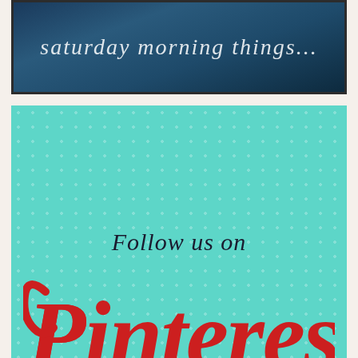[Figure (illustration): Dark blue textured background image with partial italic text visible at top]
[Figure (infographic): Teal/mint colored card with polka dot pattern background. Contains script text 'Follow us on', large red Pinterest logo text, and URL www.pinterest.com/farmersattic]